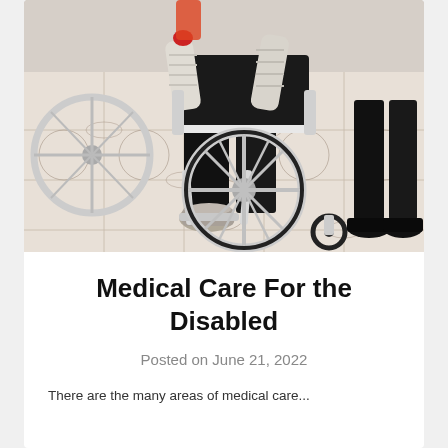[Figure (photo): A person in a wheelchair on a decorative tiled floor. The wheelchair user is wearing black pants and grey sneakers, with bandaged arms. A caregiver in black shoes stands beside them. The floor features an ornate floral pattern.]
Medical Care For the Disabled
Posted on June 21, 2022
There are the many areas of medical care...